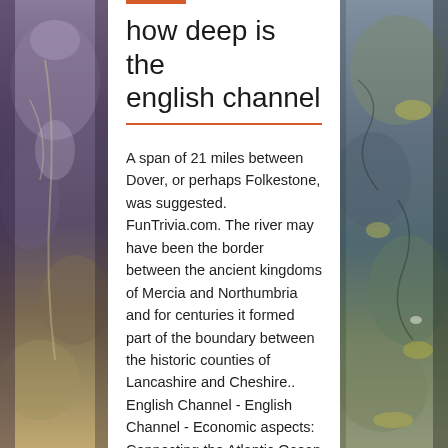[Figure (photo): Left side: mirrored photo of rocky stones/pebbles with purple, grey, and brown tones]
how deep is the english channel
A span of 21 miles between Dover, or perhaps Folkestone, was suggested. FunTrivia.com. The river may have been the border between the ancient kingdoms of Mercia and Northumbria and for centuries it formed part of the boundary between the historic counties of Lancashire and Cheshire.. English Channel - English Channel - Economic aspects: Connecting the Atlantic Ocean and the North Sea, the respective waters of which are rich in warm- and cold-water plankton, the English Channel is favoured from the latter with cod, herring, and whiting and from the former with hake, pilchard, and
[Figure (photo): Right side: photo of rocky stones/pebbles with blue-grey, green, and yellow-lichen tones]